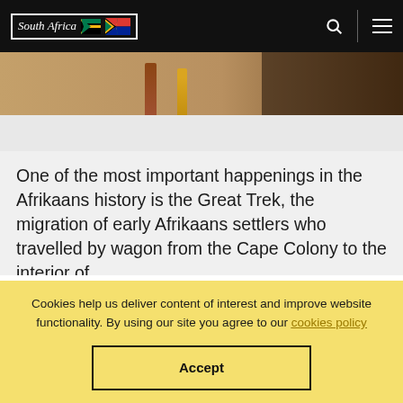[Figure (screenshot): South Africa tourism website navigation bar with logo, search icon, and hamburger menu on black background]
[Figure (photo): Partial photo showing two people standing in what appears to be a warm-toned interior or museum space]
One of the most important happenings in the Afrikaans history is the Great Trek, the migration of early Afrikaans settlers who travelled by wagon from the Cape Colony to the interior of
Cookies help us deliver content of interest and improve website functionality. By using our site you agree to our cookies policy
Accept